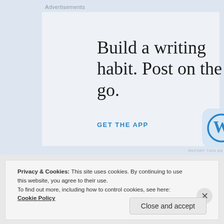Advertisements
[Figure (infographic): WordPress advertisement: 'Build a writing habit. Post on the go.' with GET THE APP link and WordPress logo icon on a light blue background]
REPORT THIS AD
Privacy & Cookies: This site uses cookies. By continuing to use this website, you agree to their use.
To find out more, including how to control cookies, see here: Cookie Policy
Close and accept